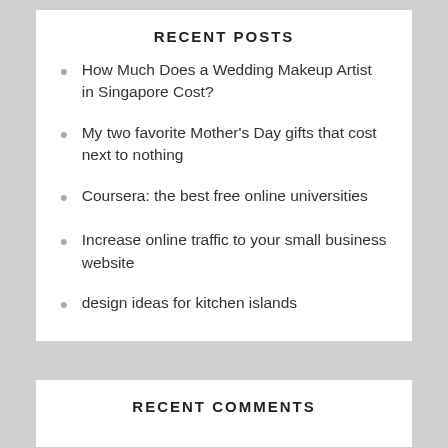RECENT POSTS
How Much Does a Wedding Makeup Artist in Singapore Cost?
My two favorite Mother's Day gifts that cost next to nothing
Coursera: the best free online universities
Increase online traffic to your small business website
design ideas for kitchen islands
RECENT COMMENTS